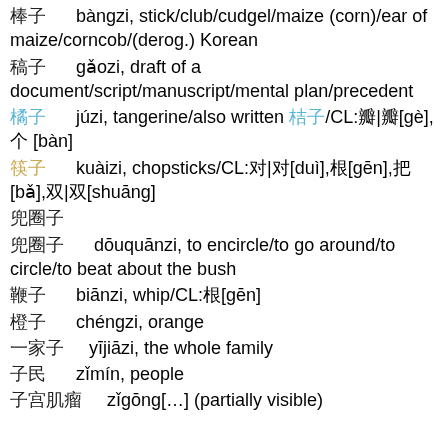棒子  bàngzi, stick/club/cudgel/maize (corn)/ear of maize/corncob/(derog.) Korean
稿子  gǎozi, draft of a document/script/manuscript/mental plan/precedent
橘子  júzi, tangerine/also written 桔子/CL:瓣|瓣[gè],个 [bàn]
筷子  kuàizi, chopsticks/CL:对|对[duì],根[gēn],把 [bǎ],双|双[shuāng]
兜圈子
兜圈子  dōuquānzi, to encircle/to go around/to circle/to beat about the bush
鞭子  biānzi, whip/CL:根[gēn]
橙子  chéngzi, orange
一家子  yījiāzi, the whole family
子民  zǐmín, people
子宫肌瘤  (placeholder) (sub-beginning)